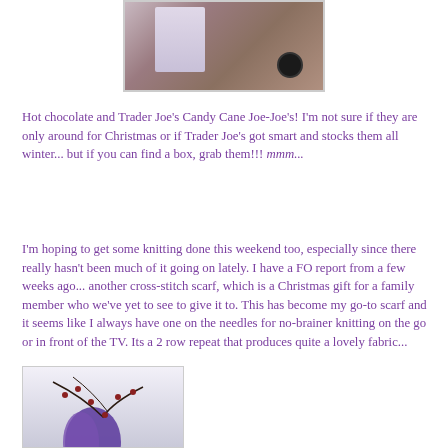[Figure (photo): Photo of hot chocolate mug and Trader Joe's Candy Cane Joe-Joe's cookie on a wooden surface]
Hot chocolate and Trader Joe's Candy Cane Joe-Joe's! I'm not sure if they are only around for Christmas or if Trader Joe's got smart and stocks them all winter... but if you can find a box, grab them!!! mmm...
I'm hoping to get some knitting done this weekend too, especially since there really hasn't been much of it going on lately. I have a FO report from a few weeks ago... another cross-stitch scarf, which is a Christmas gift for a family member who we've yet to see to give it to. This has become my go-to scarf and it seems like I always have one on the needles for no-brainer knitting on the go or in front of the TV. Its a 2 row repeat that produces quite a lovely fabric...
[Figure (photo): Photo of a knitted cross-stitch scarf in purple tones with a berry branch decoration]